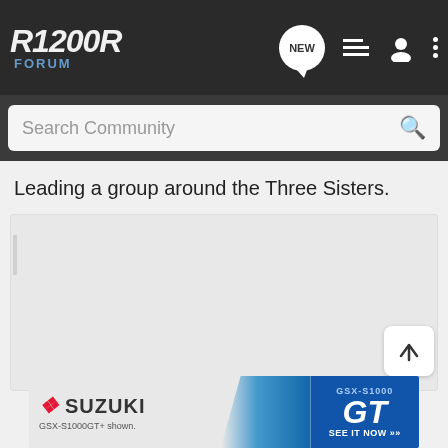R1200R FORUM
Search Community
Leading a group around the Three Sisters.
[Figure (photo): Large image placeholder area, light grey, possibly a motorcycle or group riding photo that has not fully loaded.]
[Figure (other): Suzuki GSX-S1000 GT advertisement banner. Shows Suzuki logo on left, motorcycle image in center, GSX-S1000 GT branding and 'SEE IT NOW' on blue right panel. Caption: GSX-S1000GT+ shown.]